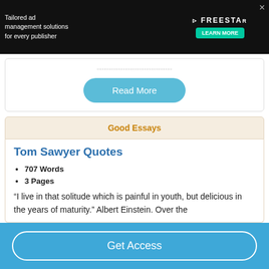[Figure (screenshot): Advertisement banner with dark background: 'Tailored ad management solutions for every publisher' with FREESTAR logo and LEARN MORE button]
Read More
Good Essays
Tom Sawyer Quotes
707 Words
3 Pages
“I live in that solitude which is painful in youth, but delicious in the years of maturity.” Albert Einstein. Over the
Get Access